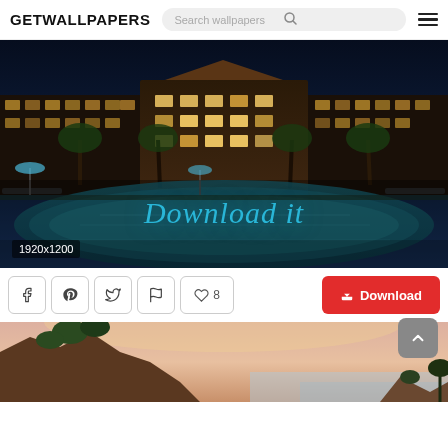GETWALLPAPERS | Search wallpapers
[Figure (photo): Night-time photo of a luxury hotel resort with illuminated building facade, palm trees, and a large swimming pool in the foreground. Text overlay reads 'Download it' in blue italic. Resolution badge shows '1920x1200'.]
Download it
1920x1200
[Figure (other): Row of social sharing icon buttons (Facebook, Pinterest, Twitter, Flag), a heart/like button showing '8', and a red Download button]
[Figure (photo): Partial view of a coastal/ocean sunset scene with rocky cliffs and trees, warm pink/orange sky]